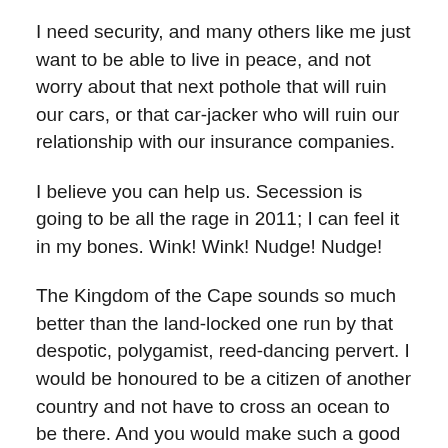I need security, and many others like me just want to be able to live in peace, and not worry about that next pothole that will ruin our cars, or that car-jacker who will ruin our relationship with our insurance companies.
I believe you can help us. Secession is going to be all the rage in 2011; I can feel it in my bones. Wink! Wink! Nudge! Nudge!
The Kingdom of the Cape sounds so much better than the land-locked one run by that despotic, polygamist, reed-dancing pervert. I would be honoured to be a citizen of another country and not have to cross an ocean to be there. And you would make such a good President…or even queen.
Please let me know if you will be interested in creating the